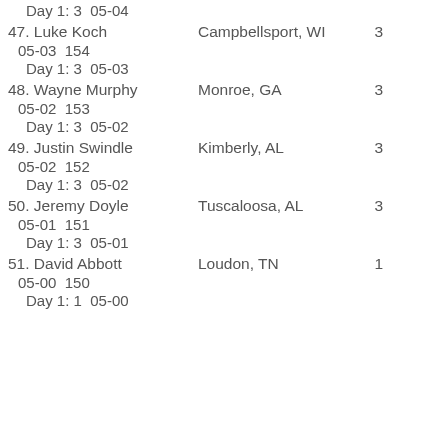Day 1: 3  05-04
47. Luke Koch   Campbellsport, WI   3
05-03  154
Day 1: 3  05-03
48. Wayne Murphy   Monroe, GA   3
05-02  153
Day 1: 3  05-02
49. Justin Swindle   Kimberly, AL   3
05-02  152
Day 1: 3  05-02
50. Jeremy Doyle   Tuscaloosa, AL   3
05-01  151
Day 1: 3  05-01
51. David Abbott   Loudon, TN   1
05-00  150
Day 1: 1  05-00